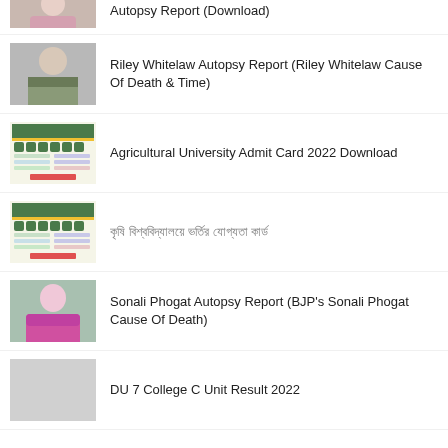Autopsy Report (Download)
Riley Whitelaw Autopsy Report (Riley Whitelaw Cause Of Death & Time)
Agricultural University Admit Card 2022 Download
কৃষি বিশ্ববিদ্যালয় ভর্তি পরীক্ষা (Bengali text)
Sonali Phogat Autopsy Report (BJP's Sonali Phogat Cause Of Death)
DU 7 College C Unit Result 2022